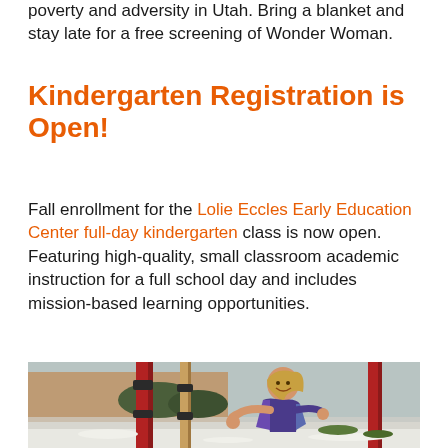poverty and adversity in Utah. Bring a blanket and stay late for a free screening of Wonder Woman.
Kindergarten Registration is Open!
Fall enrollment for the Lolie Eccles Early Education Center full-day kindergarten class is now open. Featuring high-quality, small classroom academic instruction for a full school day and includes mission-based learning opportunities.
[Figure (photo): A young girl smiling and playing on a red playground structure outdoors, with snow on the ground and a brick building in the background.]